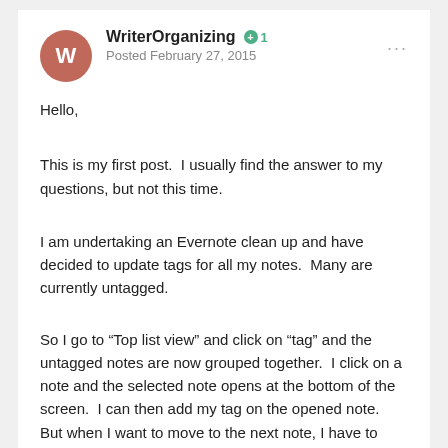WriterOrganizing  +1  Posted February 27, 2015
Hello,
This is my first post.  I usually find the answer to my questions, but not this time.
I am undertaking an Evernote clean up and have decided to update tags for all my notes.  Many are currently untagged.
So I go to “Top list view” and click on “tag” and the untagged notes are now grouped together.  I click on a note and the selected note opens at the bottom of the screen.  I can then add my tag on the opened note.  But when I want to move to the next note, I have to engage the mouse and go to the top of the screen and click.  I have